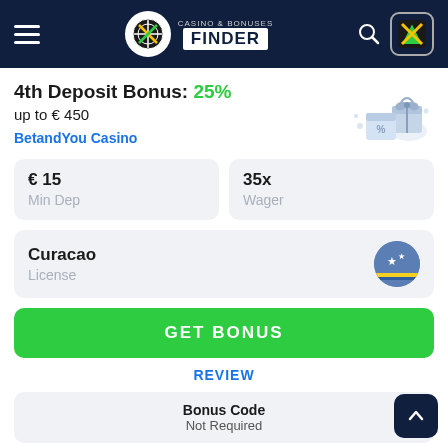Casino & Bonuses Finder
4th Deposit Bonus: 25% up to € 450
BetandYou Casino
€ 15 Min Dep
35x Wager
Curacao License
GET BONUS
REVIEW
Bonus Code Not Required
User feedback
0
0